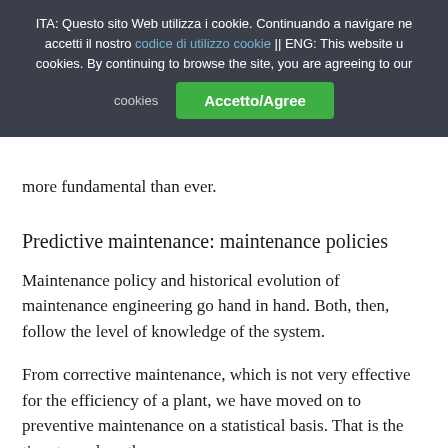ITA: Questo sito Web utilizza i cookie. Continuando a navigare nel sito accetti il nostro codice di utilizzo cookie || ENG: This website uses cookies. By continuing to browse the site, you are agreeing to our cookies.
more fundamental than ever.
Predictive maintenance: maintenance policies
Maintenance policy and historical evolution of maintenance engineering go hand in hand. Both, then, follow the level of knowledge of the system.
From corrective maintenance, which is not very effective for the efficiency of a plant, we have moved on to preventive maintenance on a statistical basis. That is the time to replace the